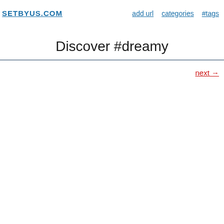SETBYUS.COM   add url   categories   #tags
Discover #dreamy
next →